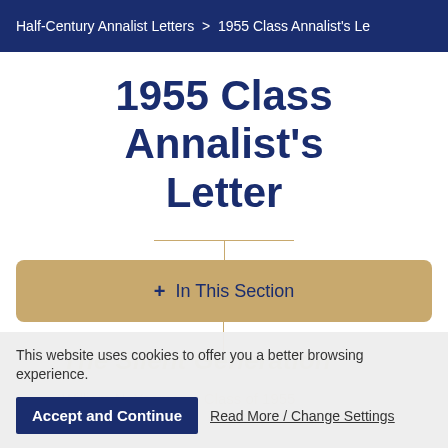Half-Century Annalist Letters > 1955 Class Annalist's Le
1955 Class Annalist's Letter
+ In This Section
The Silent Generation
William N. Yeomans, Class of 1955
This website uses cookies to offer you a better browsing experience.
Accept and Continue
Read More / Change Settings